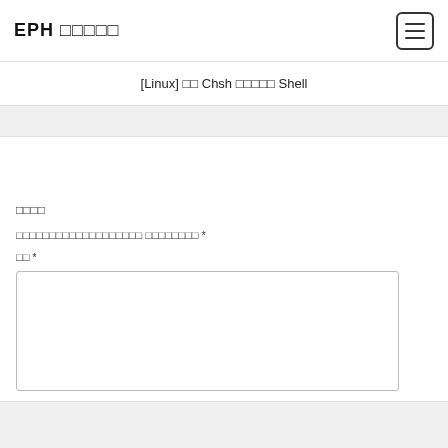EPH □□□□□
[Linux] □□ Chsh □□□□□ Shell
□□□□
□□□□□□□□□□□□□□□□□□□ □□□□□□□□ *
□□ *
[Figure (other): Text area input box, empty, with border]